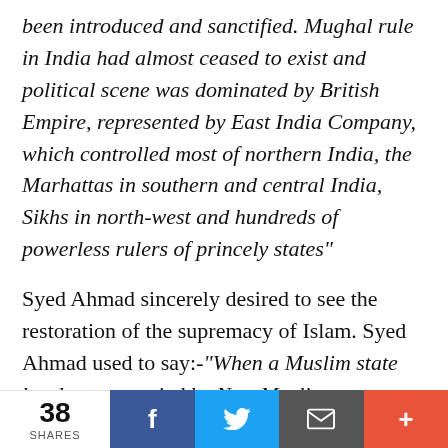been introduced and sanctified. Mughal rule in India had almost ceased to exist and political scene was dominated by British Empire, represented by East India Company, which controlled most of northern India, the Marhattas in southern and central India, Sikhs in north-west and hundreds of powerless rulers of princely states"
Syed Ahmad sincerely desired to see the restoration of the supremacy of Islam. Syed Ahmad used to say:-“When a Muslim state has been occupied by Non-Muslims.
38 SHARES | Facebook | Twitter | Email | +